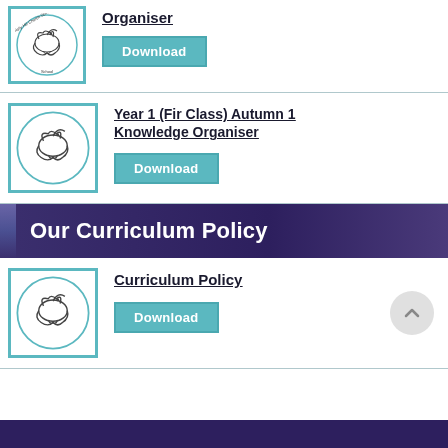[Figure (logo): Holly Hill Church School logo - dove with circular text]
Organiser
Download
[Figure (logo): Holly Hill Church School logo - dove with circular text]
Year 1 (Fir Class) Autumn 1 Knowledge Organiser
Download
Our Curriculum Policy
[Figure (logo): Holly Hill Church School logo - dove with circular text]
Curriculum Policy
Download